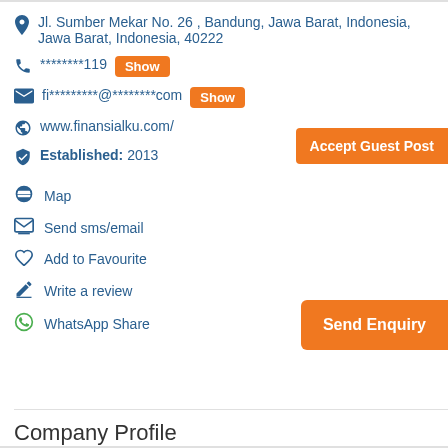Jl. Sumber Mekar No. 26 , Bandung, Jawa Barat, Indonesia, Jawa Barat, Indonesia, 40222
********119  Show
fi*********@********com  Show
www.finansialku.com/
Accept Guest Post
Established: 2013
Map
Send sms/email
Add to Favourite
Write a review
WhatsApp Share
Send Enquiry
Company Profile